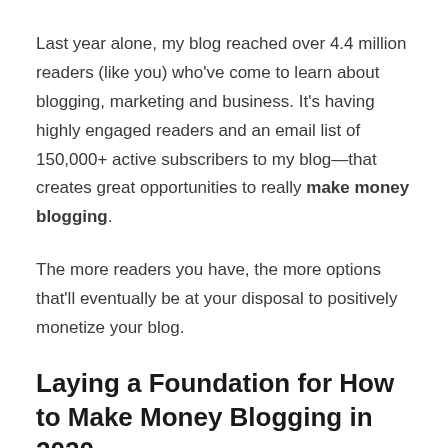Last year alone, my blog reached over 4.4 million readers (like you) who've come to learn about blogging, marketing and business. It's having highly engaged readers and an email list of 150,000+ active subscribers to my blog—that creates great opportunities to really make money blogging.
The more readers you have, the more options that'll eventually be at your disposal to positively monetize your blog.
Laying a Foundation for How to Make Money Blogging in 2020
Before we dive straight into the ways of how to mak...